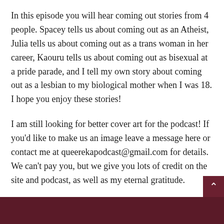In this episode you will hear coming out stories from 4 people. Spacey tells us about coming out as an Atheist, Julia tells us about coming out as a trans woman in her career, Kaouru tells us about coming out as bisexual at a pride parade, and I tell my own story about coming out as a lesbian to my biological mother when I was 18. I hope you enjoy these stories!
I am still looking for better cover art for the podcast! If you'd like to make us an image leave a message here or contact me at queerekapodcast@gmail.com for details. We can't pay you, but we give you lots of credit on the site and podcast, as well as my eternal gratitude.
Music for Queereka Podcast is courtesy of Colin Gagnon, who is awesome and talented. You can find him at Sacredpotato.com